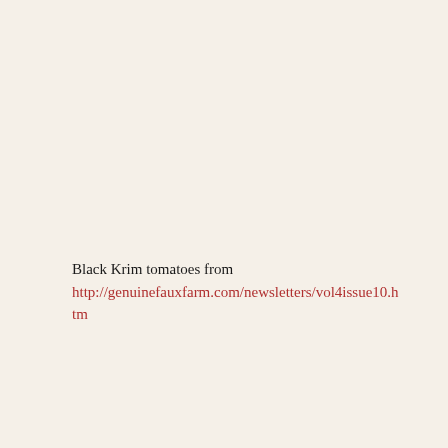Black Krim tomatoes from http://genuinefauxfarm.com/newsletters/vol4issue10.htm